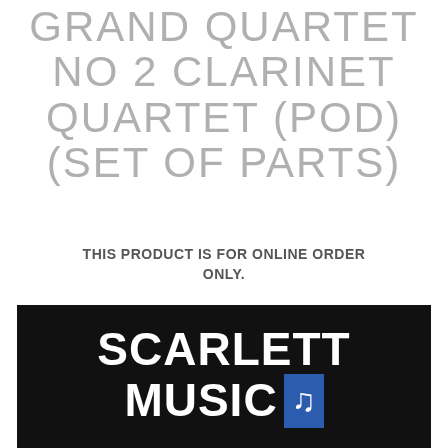GRAND QUARTET NO 2 CLARINET QUARTET (POD) (SET OF PARTS)
THIS PRODUCT IS FOR ONLINE ORDER ONLY.
[Figure (logo): Scarlett Music logo on black background with blue musical note box]